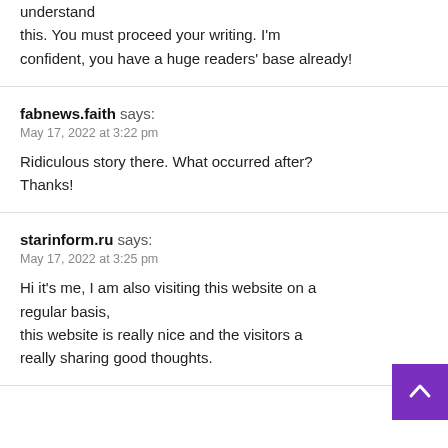understand
this. You must proceed your writing. I'm confident, you have a huge readers' base already!
fabnews.faith says:
May 17, 2022 at 3:22 pm
Ridiculous story there. What occurred after? Thanks!
starinform.ru says:
May 17, 2022 at 3:25 pm
Hi it's me, I am also visiting this website on a regular basis, this website is really nice and the visitors are really sharing good thoughts.